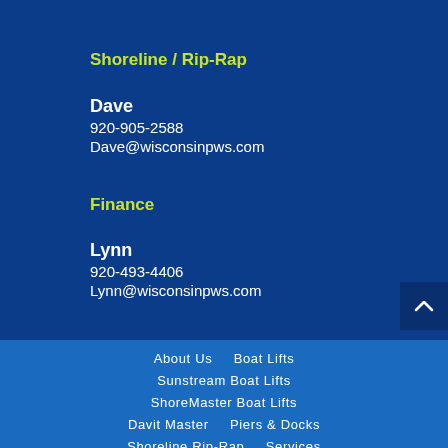Shoreline / Rip-Rap
Dave
920-905-2588
Dave@wisconsinpws.com
Finance
Lynn
920-493-4406
Lynn@wisconsinpws.com
About Us   Boat Lifts
Sunstream Boat Lifts
ShoreMaster Boat Lifts
Davit Master   Piers & Docks
Shoreline Rip-Rap   Services